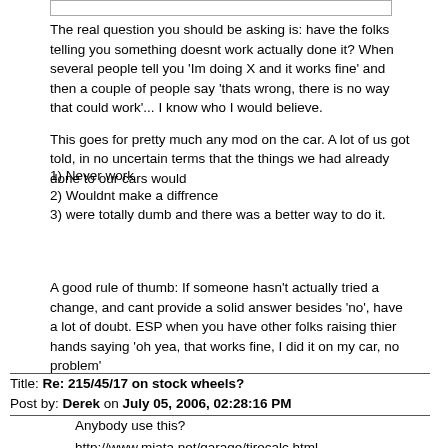The real question you should be asking is: have the folks telling you something doesnt work actually done it? When several people tell you 'Im doing X and it works fine' and then a couple of people say 'thats wrong, there is no way that could work'... I know who I would believe.
This goes for pretty much any mod on the car. A lot of us got told, in no uncertain terms that the things we had already done to our cars would
1) Never work
2) Wouldnt make a diffrence
3) were totally dumb and there was a better way to do it.
A good rule of thumb: If someone hasn't actually tried a change, and cant provide a solid answer besides 'no', have a lot of doubt. ESP when you have other folks raising thier hands saying 'oh yea, that works fine, I did it on my car, no problem'
Title: Re: 215/45/17 on stock wheels?
Post by: Derek on July 05, 2006, 02:28:16 PM
Anybody use this?
http://www.miata.net/garage/tirecalc.html
It's a tire size calculator (that I've been using for years)